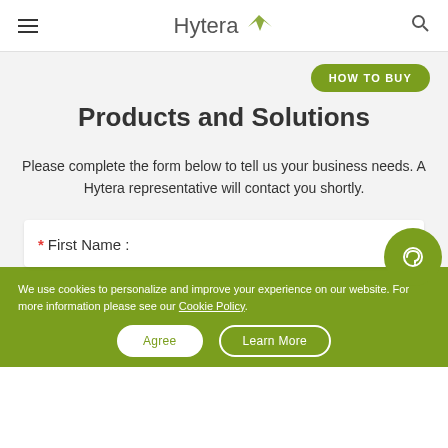Hytera
Products and Solutions
Please complete the form below to tell us your business needs. A Hytera representative will contact you shortly.
* First Name :
We use cookies to personalize and improve your experience on our website. For more information please see our Cookie Policy.